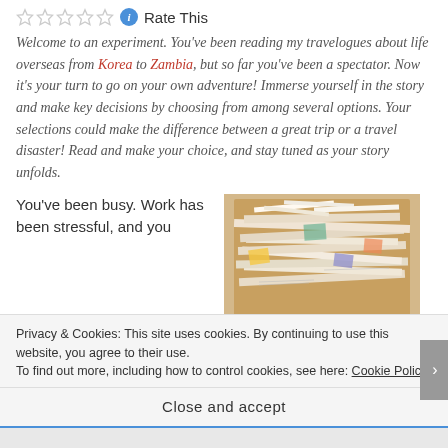Rate This
Welcome to an experiment. You've been reading my travelogues about life overseas from Korea to Zambia, but so far you've been a spectator. Now it's your turn to go on your own adventure! Immerse yourself in the story and make key decisions by choosing from among several options. Your selections could make the difference between a great trip or a travel disaster! Read and make your choice, and stay tuned as your story unfolds.
You've been busy. Work has been stressful, and you
[Figure (photo): A large pile of papers and documents stacked chaotically in what appears to be a cardboard box or on a surface.]
Privacy & Cookies: This site uses cookies. By continuing to use this website, you agree to their use. To find out more, including how to control cookies, see here: Cookie Policy
Close and accept